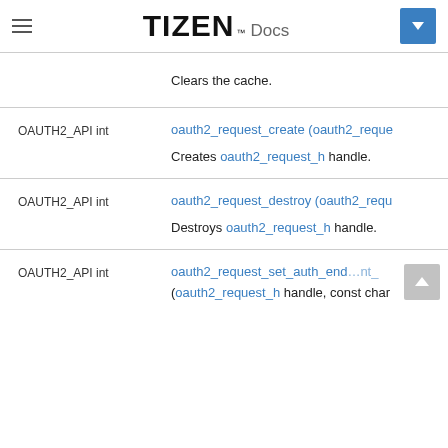TIZEN Docs
Clears the cache.
OAUTH2_API int   oauth2_request_create (oauth2_reque...
Creates oauth2_request_h handle.
OAUTH2_API int   oauth2_request_destroy (oauth2_requ...
Destroys oauth2_request_h handle.
OAUTH2_API int   oauth2_request_set_auth_end... (oauth2_request_h handle, const char...